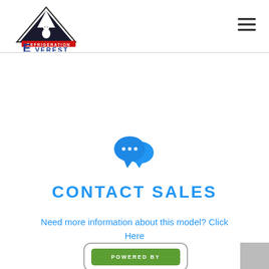[Figure (logo): Everest Refrigeration logo: triangle mountain with snowman, text 'REFRIGERATION' in red bar and 'EVEREST' below in blue letters with large E]
[Figure (illustration): Blue chat/speech bubbles icon representing contact/messaging]
CONTACT SALES
Need more information about this model? Click Here
[Figure (logo): Powered by badge: rounded rectangle border with green inner rectangle containing 'POWERED BY' text in white uppercase letters]